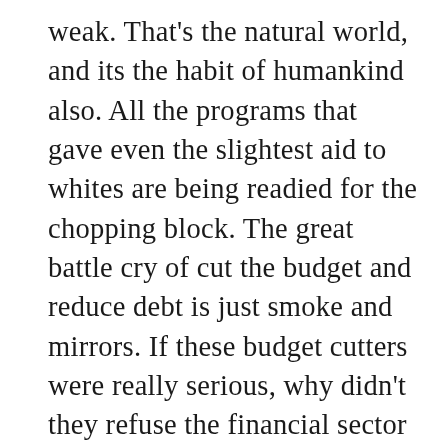weak. That's the natural world, and its the habit of humankind also. All the programs that gave even the slightest aid to whites are being readied for the chopping block. The great battle cry of cut the budget and reduce debt is just smoke and mirrors. If these budget cutters were really serious, why didn't they refuse the financial sector bailout. Seems to me we would have saved 700 billion, and wouldn't be in the red to the tune of 1.5 trillion. How about getting our troops home to US soil, and stop fighting these mindless wars. How about drawing our troops back to home soil, and stop babysitting nation, like in the Balkans. People